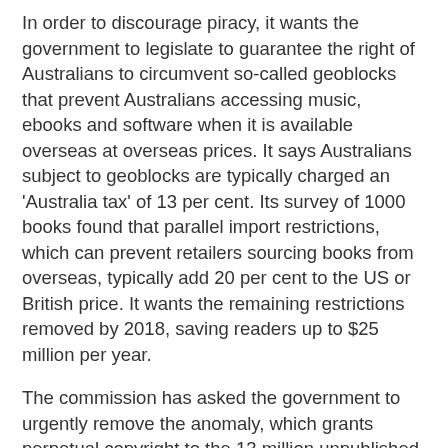In order to discourage piracy, it wants the government to legislate to guarantee the right of Australians to circumvent so-called geoblocks that prevent Australians accessing music, ebooks and software when it is available overseas at overseas prices. It says Australians subject to geoblocks are typically charged an 'Australia tax' of 13 per cent. Its survey of 1000 books found that parallel import restrictions, which can prevent retailers sourcing books from overseas, typically add 20 per cent to the US or British price. It wants the remaining restrictions removed by 2018, saving readers up to $25 million per year.
The commission has asked the government to urgently remove the anomaly, which grants perpetual copyright to the 13 million unpublished documents and letters held in cultural institutions, meaning they can't be digitised unless the heirs of the authors can be tracked down. It also wants to make it to be easier to make use of "orphan works" for whom the copyright owners cannot be found. It says the National Film and Sound Archive has told it that 20 per cent of its holdings are in a legal "no man's land", meaning it can't use them to celebrate Australia's heritage without tracking down owners